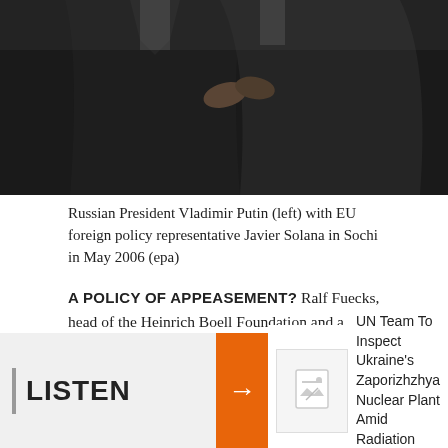[Figure (photo): Two men in dark coats shaking hands outdoors, partially cropped photo showing torsos and hands]
Russian President Vladimir Putin (left) with EU foreign policy representative Javier Solana in Sochi in May 2006 (epa)
A POLICY OF APPEASEMENT? Ralf Fuecks, head of the Heinrich Boell Foundation and a Green Party activist, spoke at RFE/RL's Prague broadcast center about the EU's complex relations with a resurgent Russia. RFE/RL President Jeff Gedmin moderated the discussion.
LISTEN
UN Team To Inspect Ukraine's Zaporizhzhya Nuclear Plant Amid Radiation Fears